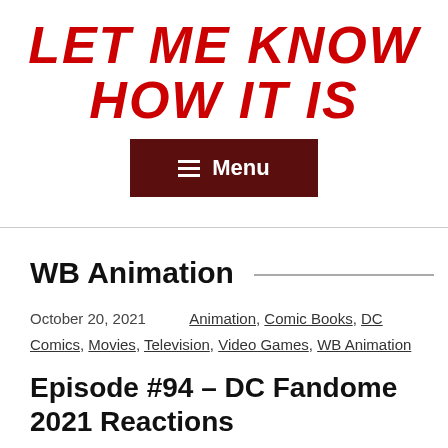LET ME KNOW HOW IT IS
Menu
WB Animation
October 20, 2021   Animation, Comic Books, DC Comics, Movies, Television, Video Games, WB Animation
Episode #94 – DC Fandome 2021 Reactions